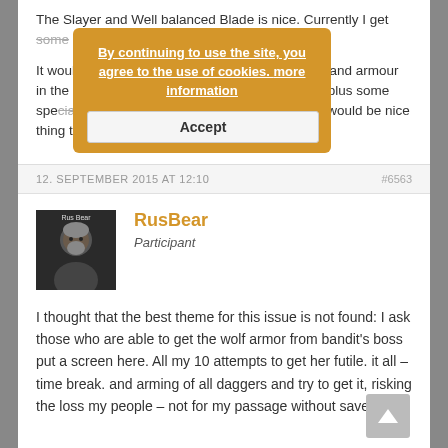The Slayer and Well balanced Blade is nice. Currently I get some [strikethrough] coppers. It would be nice to make Some custom sweaters and armour in the city. Like bring best [strikethrough] and a lot of cash plus some special drops.de/make-drops/items for a cash. It would be nice thing to spend a cash.
By continuing to use the site, you agree to the use of cookies. more information
Accept
12. SEPTEMBER 2015 AT 12:10	#6563
RusBear
Participant
[Figure (photo): User avatar for RusBear showing a character from a game with a beard and armor, dark background with 'Rus Bear' text overlay]
I thought that the best theme for this issue is not found: I ask those who are able to get the wolf armor from bandit's boss put a screen here. All my 10 attempts to get her futile. it all – time break. and arming of all daggers and try to get it, risking the loss my people – not for my passage without save/loads.